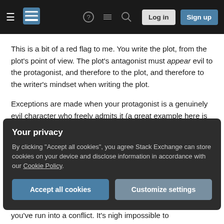Stack Exchange navigation bar with hamburger menu, logo, help, chat, search icons, Log in and Sign up buttons
This is a bit of a red flag to me. You write the plot, from the plot's point of view. The plot's antagonist must appear evil to the protagonist, and therefore to the plot, and therefore to the writer's mindset when writing the plot.
Exceptions are made when your protagonist is a genuinely evil character who freely admits it (a great example here is Frank Underwood from House of Cards). When the protagonist, plot and viewer all agree that the protagonist is evil, then "good" almost
Your privacy
By clicking "Accept all cookies", you agree Stack Exchange can store cookies on your device and disclose information in accordance with our Cookie Policy.
Accept all cookies   Customize settings
you've run into a conflict. It's nigh impossible to